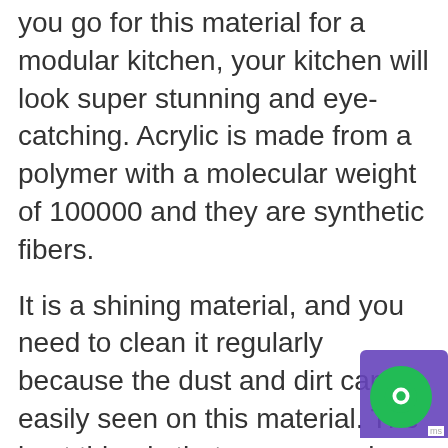you go for this material for a modular kitchen, your kitchen will look super stunning and eye-catching. Acrylic is made from a polymer with a molecular weight of 100000 and they are synthetic fibers.
It is a shining material, and you need to clean it regularly because the dust and dirt can be easily seen on this material. The best thing is that many people use it for kitchen modular because it is very durable that it will be running for decades, and it looks quite luxurious, especially when it
[Figure (other): Green circular chat widget icon with white chat bubble symbol, overlaid on a purple/violet rectangular background element in the bottom-right corner. A small 'ms' label appears at the far right edge.]